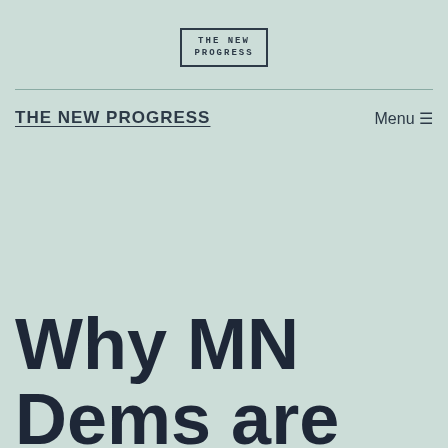THE NEW PROGRESS
THE NEW PROGRESS
Why MN Dems are